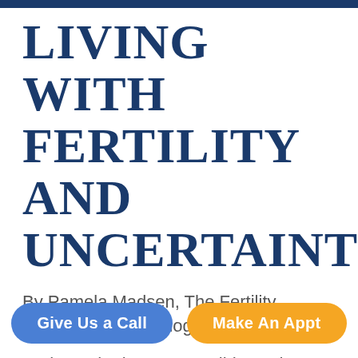LIVING WITH FERTILITY AND UNCERTAINTY
By Pamela Madsen, The Fertility Advocate, Guest Blogger
Perhaps the late, great Gilda Radner said it best :
I wanted a perfect ending. Now
Give Us a Call
Make An Appt